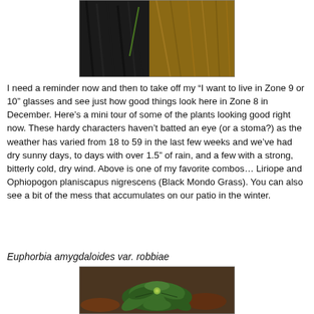[Figure (photo): Photo of Liriope and Ophiopogon planiscapus nigrescens (Black Mondo Grass) with dried leaves on a patio]
I need a reminder now and then to take off my “I want to live in Zone 9 or 10” glasses and see just how good things look here in Zone 8 in December. Here’s a mini tour of some of the plants looking good right now. These hardy characters haven’t batted an eye (or a stoma?) as the weather has varied from 18 to 59 in the last few weeks and we’ve had dry sunny days, to days with over 1.5” of rain, and a few with a strong, bitterly cold, dry wind. Above is one of my favorite combos… Liriope and Ophiopogon planiscapus nigrescens (Black Mondo Grass). You can also see a bit of the mess that accumulates on our patio in the winter.
Euphorbia amygdaloides var. robbiae
[Figure (photo): Photo of Euphorbia amygdaloides var. robbiae plant with dark green rosette leaves]